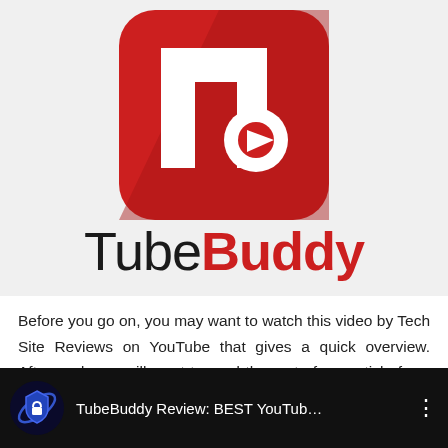[Figure (logo): TubeBuddy logo: red rounded-square icon with 'tb' letters and a play button arrow, followed by 'TubeBuddy' wordmark in black and red]
Before you go on, you may want to watch this video by Tech Site Reviews on YouTube that gives a quick overview. Afterward, you will want to read the rest of our article for a more comprehensive review of TubeBuddy.
[Figure (screenshot): YouTube video thumbnail showing TubeBuddy Review: BEST YouTub... with a shield logo icon and three-dot menu]